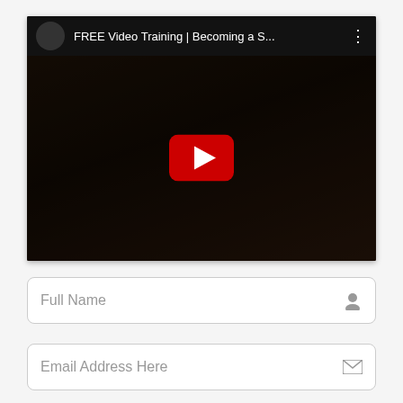[Figure (screenshot): YouTube video player embed showing a woman in red seated at a desk with arms crossed. Top bar shows channel avatar, title 'FREE Video Training | Becoming a S...' and a three-dot menu. A red YouTube play button is visible in the center of the darkened video frame.]
Full Name
Email Address Here